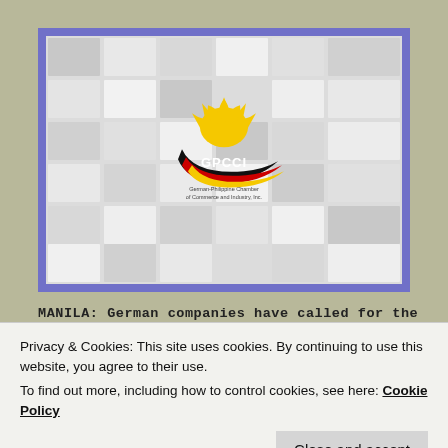[Figure (logo): GPCCI (German-Philippine Chamber of Commerce and Industry, Inc.) logo centered on a mosaic tile background, inside a blue-bordered frame. Logo shows a yellow sun with rays, a black and red swoosh, and the text GPCCI with full name below.]
MANILA: German companies have called for the
Privacy & Cookies: This site uses cookies. By continuing to use this website, you agree to their use.
To find out more, including how to control cookies, see here: Cookie Policy
Close and accept
Commerce and Industry (GPCCI) and Singapore-